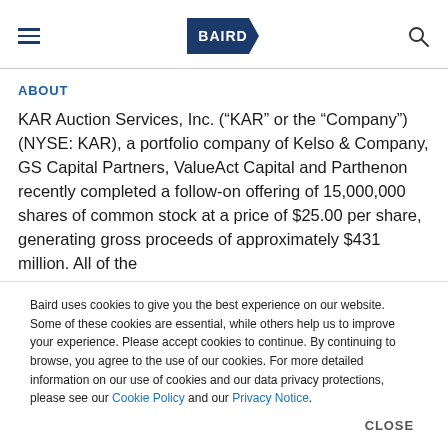BAIRD (logo navigation header)
ABOUT
KAR Auction Services, Inc. (“KAR” or the “Company”) (NYSE: KAR), a portfolio company of Kelso & Company, GS Capital Partners, ValueAct Capital and Parthenon recently completed a follow-on offering of 15,000,000 shares of common stock at a price of $25.00 per share, generating gross proceeds of approximately $431 million. All of the
Baird uses cookies to give you the best experience on our website. Some of these cookies are essential, while others help us to improve your experience. Please accept cookies to continue. By continuing to browse, you agree to the use of our cookies. For more detailed information on our use of cookies and our data privacy protections, please see our Cookie Policy and our Privacy Notice.
CLOSE